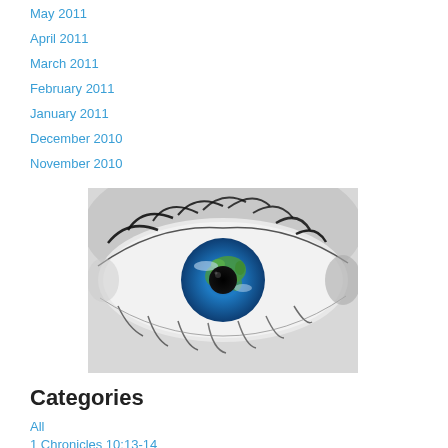May 2011
April 2011
March 2011
February 2011
January 2011
December 2010
November 2010
[Figure (photo): Close-up black and white photo of a human eye with the iris replaced by a globe showing Earth's continents in blue and green]
Categories
All
1 Chronicles 10:13-14